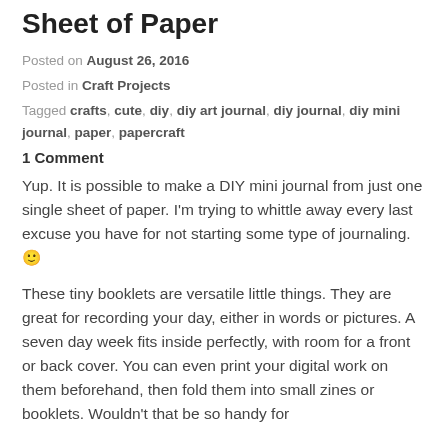Sheet of Paper
Posted on August 26, 2016
Posted in Craft Projects
Tagged crafts, cute, diy, diy art journal, diy journal, diy mini journal, paper, papercraft
1 Comment
Yup. It is possible to make a DIY mini journal from just one single sheet of paper. I'm trying to whittle away every last excuse you have for not starting some type of journaling. 🙂
These tiny booklets are versatile little things. They are great for recording your day, either in words or pictures. A seven day week fits inside perfectly, with room for a front or back cover. You can even print your digital work on them beforehand, then fold them into small zines or booklets. Wouldn't that be so handy? (cut off)